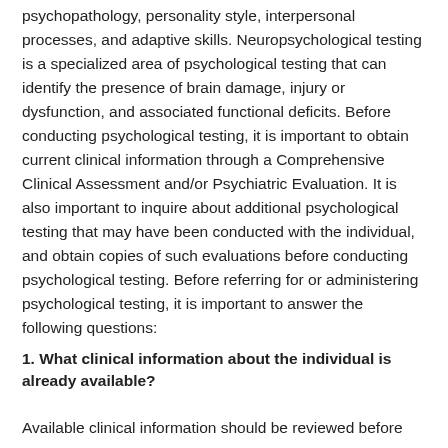psychopathology, personality style, interpersonal processes, and adaptive skills. Neuropsychological testing is a specialized area of psychological testing that can identify the presence of brain damage, injury or dysfunction, and associated functional deficits. Before conducting psychological testing, it is important to obtain current clinical information through a Comprehensive Clinical Assessment and/or Psychiatric Evaluation. It is also important to inquire about additional psychological testing that may have been conducted with the individual, and obtain copies of such evaluations before conducting psychological testing. Before referring for or administering psychological testing, it is important to answer the following questions:
1. What clinical information about the individual is already available?
Available clinical information should be reviewed before